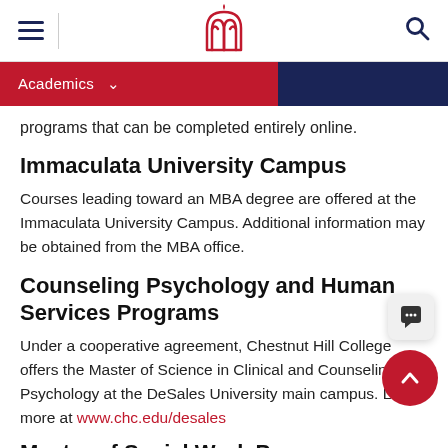Navigation bar with hamburger menu, DeSales University logo, and search icon
Academics (dropdown nav ribbon)
programs that can be completed entirely online.
Immaculata University Campus
Courses leading toward an MBA degree are offered at the Immaculata University Campus. Additional information may be obtained from the MBA office.
Counseling Psychology and Human Services Programs
Under a cooperative agreement, Chestnut Hill College offers the Master of Science in Clinical and Counseling Psychology at the DeSales University main campus. Learn more at www.chc.edu/desales
Master of Social Work P...